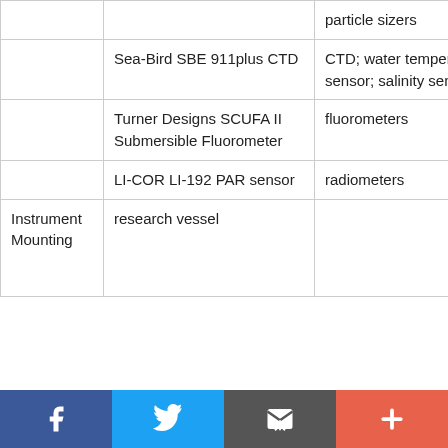|  | Instrument / Model | Type |
| --- | --- | --- |
|  | particle sizers |  |
|  | Sea-Bird SBE 911plus CTD | CTD; water temperature sensor; salinity sensor |
|  | Turner Designs SCUFA II Submersible Fluorometer | fluorometers |
|  | LI-COR LI-192 PAR sensor | radiometers |
| Instrument Mounting | research vessel |  |